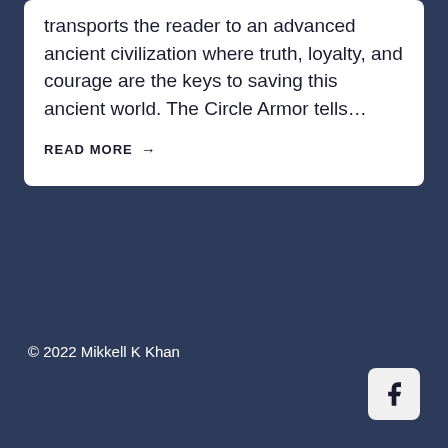transports the reader to an advanced ancient civilization where truth, loyalty, and courage are the keys to saving this ancient world. The Circle Armor tells…
READ MORE →
© 2022 Mikkell K Khan